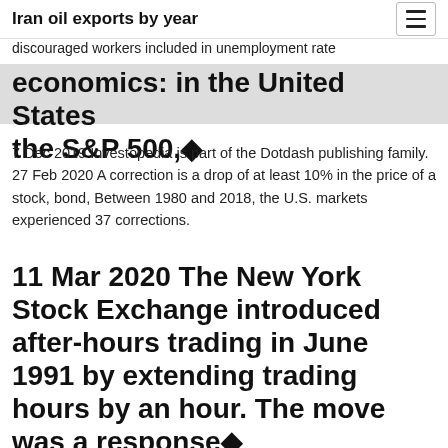Iran oil exports by year
discouraged workers included in unemployment rate
economics: in the United States the S&P 500,◆
7 Dec 2019 Investopedia is part of the Dotdash publishing family. 27 Feb 2020 A correction is a drop of at least 10% in the price of a stock, bond, Between 1980 and 2018, the U.S. markets experienced 37 corrections.
11 Mar 2020 The New York Stock Exchange introduced after-hours trading in June 1991 by extending trading hours by an hour. The move was a response◆
7 Dec 2019 Investopedia is part of the Dotdash publishing